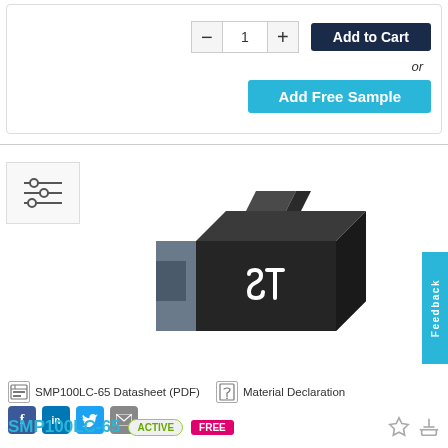[Figure (screenshot): E-commerce product page section showing quantity selector with minus/plus buttons and value 1, Add to Cart button (dark navy), 'or' text, and Add Free Sample button (cyan/turquoise)]
[Figure (illustration): 3D rendering of STMicroelectronics SMP100LC-65 electronic component (SMD diode package) in dark grey with ST logo in white on the front face]
SMP100LC-65 Datasheet (PDF)    Material Declaration
SMP100LC-65  ACTIVE  FREE
Feedback